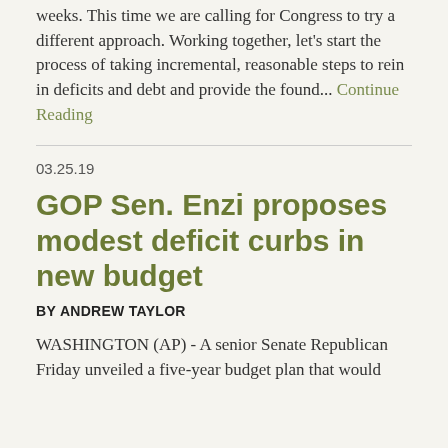weeks. This time we are calling for Congress to try a different approach. Working together, let's start the process of taking incremental, reasonable steps to rein in deficits and debt and provide the found... Continue Reading
03.25.19
GOP Sen. Enzi proposes modest deficit curbs in new budget
by ANDREW TAYLOR
WASHINGTON (AP) - A senior Senate Republican Friday unveiled a five-year budget plan that would